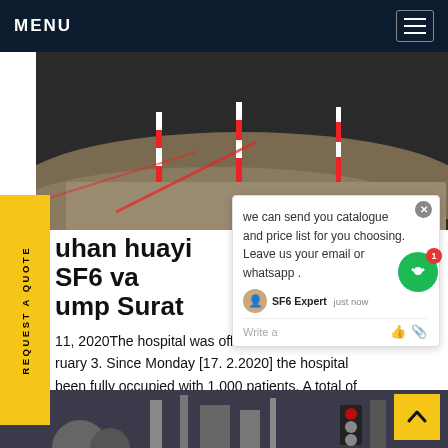MENU
[Figure (photo): Aerial or close-up view of gravel/aggregate construction site with red and white striped poles]
uhan huayi SF6 va
ump Surat
we can send you catalogue and price list for you choosing. Leave us your email or whatsapp .
SF6 Expert   just now
11, 2020The hospital was officially ... ruary 3. Since Monday [17. 2.2020] the hospital been fully occupied with 1,000 patients. A total of o 1,400 medical professionals are expected et price
[Figure (photo): Industrial/engineering facility exterior view with large spherical tanks and steel structures]